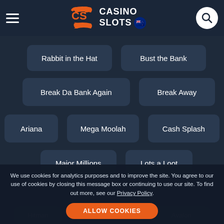[Figure (screenshot): Casino Slots website header with hamburger menu, CS logo with New Zealand flag, and search button]
Rabbit in the Hat
Bust the Bank
Break Da Bank Again
Break Away
Ariana
Mega Moolah
Cash Splash
Major Millions
Lots a Loot
Hitman
Burning Desire
Avalon
We use cookies for analytics purposes and to improve the site. You agree to our use of cookies by closing this message box or continuing to use our site. To find out more, see our Privacy Policy.